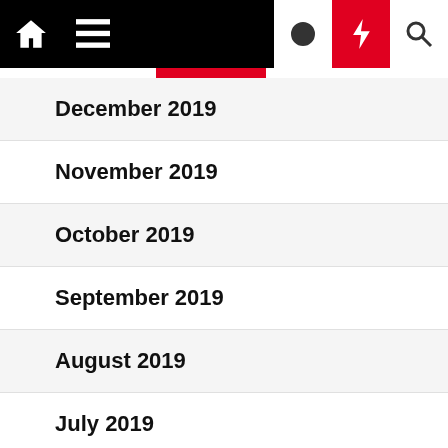Navigation bar with home, menu, moon, lightning, search icons
December 2019
November 2019
October 2019
September 2019
August 2019
July 2019
June 2019
May 2019
April 2019